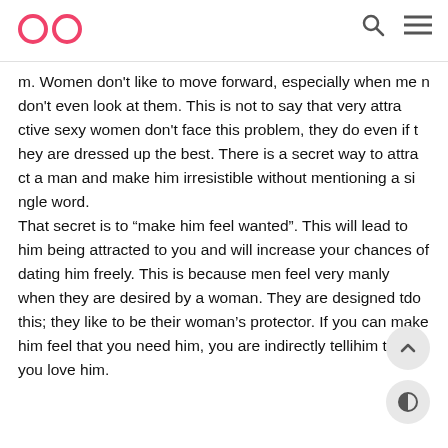OO [logo] [search icon] [menu icon]
m. Women don't like to move forward, especially when men don't even look at them. This is not to say that very attractive sexy women don't face this problem, they do even if they are dressed up the best. There is a secret way to attract a man and make him irresistible without mentioning a single word.
That secret is to “make him feel wanted”. This will lead to him being attracted to you and will increase your chances of dating him freely. This is because men feel very manly when they are desired by a woman. They are designed to do this; they like to be their woman's protector. If you can make him feel that you need him, you are indirectly telling him that you love him.